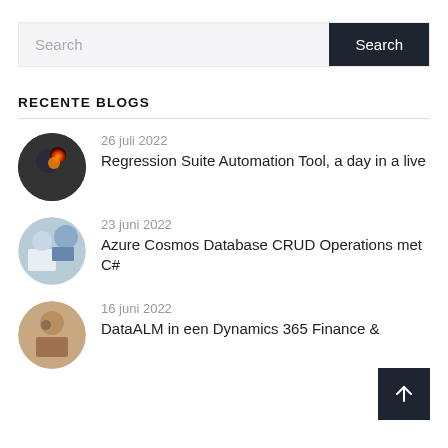Search
RECENTE BLOGS
26 juli 2022
Regression Suite Automation Tool, a day in a live
23 juni 2022
Azure Cosmos Database CRUD Operations met C#
16 juni 2022
DataALM in een Dynamics 365 Finance &